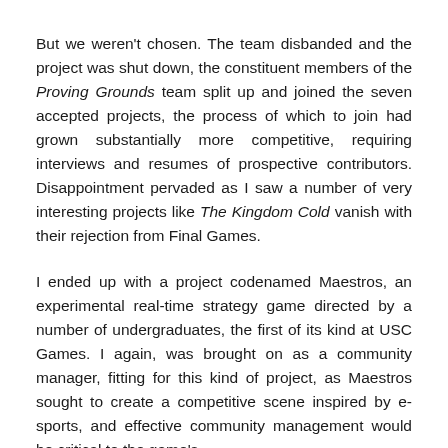But we weren't chosen. The team disbanded and the project was shut down, the constituent members of the Proving Grounds team split up and joined the seven accepted projects, the process of which to join had grown substantially more competitive, requiring interviews and resumes of prospective contributors. Disappointment pervaded as I saw a number of very interesting projects like The Kingdom Cold vanish with their rejection from Final Games.
I ended up with a project codenamed Maestros, an experimental real-time strategy game directed by a number of undergraduates, the first of its kind at USC Games. I again, was brought on as a community manager, fitting for this kind of project, as Maestros sought to create a competitive scene inspired by e-sports, and effective community management would be critical to the game's